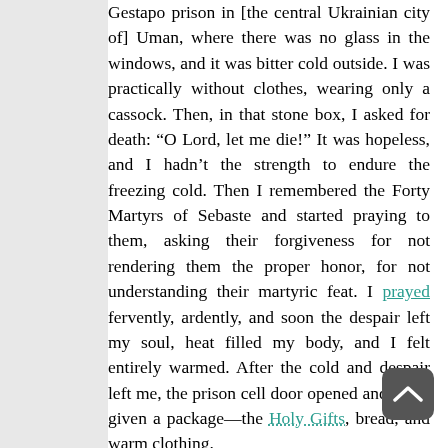Gestapo prison in [the central Ukrainian city of] Uman, where there was no glass in the windows, and it was bitter cold outside. I was practically without clothes, wearing only a cassock. Then, in that stone box, I asked for death: “O Lord, let me die!” It was hopeless, and I hadn’t the strength to endure the freezing cold. Then I remembered the Forty Martyrs of Sebaste and started praying to them, asking their forgiveness for not rendering them the proper honor, for not understanding their martyric feat. I prayed fervently, ardently, and soon the despair left my soul, heat filled my body, and I felt entirely warmed. After the cold and despair left me, the prison cell door opened and I was given a package—the Holy Gifts, bread, and warm clothing.
The Soviet forces were advancing on the city and the Germans began shooting the prisoners. I took the Holy Gifts in the palm of my hand and prayed before them all night. The faithful of Uman collected their